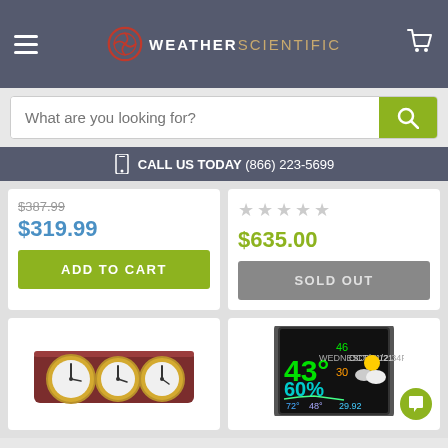WeatherScientific
What are you looking for?
CALL US TODAY (866) 223-5699
$387.99 (strikethrough) $319.99 ADD TO CART
$635.00 SOLD OUT
[Figure (photo): Weather station product with three porthole-style clock faces on a wooden base]
[Figure (photo): Weather station with colorful digital display showing temperature, date, forecast icons]